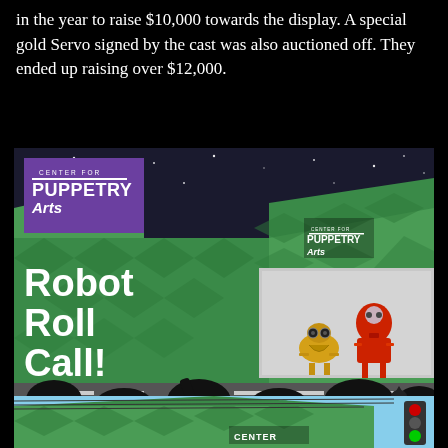in the year to raise $10,000 towards the display. A special gold Servo signed by the cast was also auctioned off. They ended up raising over $12,000.
[Figure (photo): Promotional image for 'Robot Roll Call!' exhibit at Center for Puppetry Arts. Green diamond-patterned building exterior with a large billboard showing robot characters (Crow T. Robot in gold and Tom Servo in red). Silhouettes of audience members in the foreground watching the display. Purple logo for Center for Puppetry Arts in top left corner.]
[Figure (photo): Partial photograph showing the green diamond-patterned exterior of Center for Puppetry Arts building with a traffic light visible on the right side and power lines above. Partially cut off at the bottom of the page.]